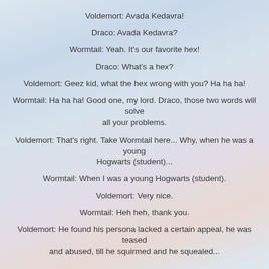Voldemort: Avada Kedavra!
Draco: Avada Kedavra?
Wormtail: Yeah. It's our favorite hex!
Draco: What's a hex?
Voldemort: Geez kid, what the hex wrong with you? Ha ha ha!
Wormtail: Ha ha ha! Good one, my lord. Draco, those two words will solve all your problems.
Voldemort: That's right. Take Wormtail here... Why, when he was a young Hogwarts (student)...
Wormtail: When I was a young Hogwarts (student).
Voldemort: Very nice.
Wormtail: Heh heh, thank you.
Voldemort: He found his persona lacked a certain appeal, he was teased and abused, till he squirmed and he squealed...